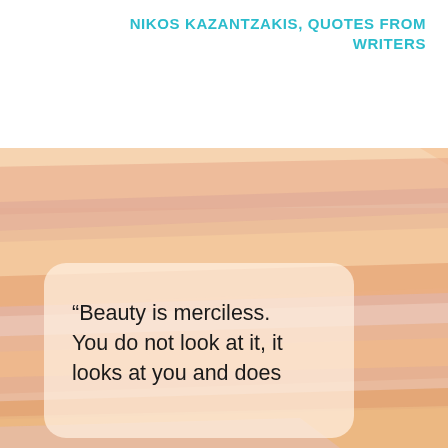NIKOS KAZANTZAKIS, QUOTES FROM WRITERS
[Figure (illustration): Colorful abstract background with diagonal stripes in peach, pink, orange, cream, and lavender tones, with a semi-transparent frosted card overlay containing a quote.]
“Beauty is merciless. You do not look at it, it looks at you and does